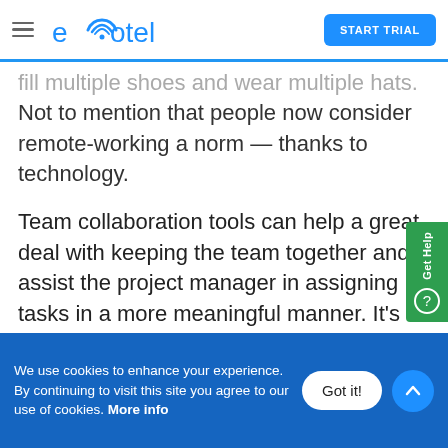exotel | START TRIAL
...fill multiple shoes and wear multiple hats. Not to mention that people now consider remote-working a norm — thanks to technology.
Team collaboration tools can help a great deal with keeping the team together and assist the project manager in assigning tasks in a more meaningful manner. It's easier to keep track of projects and the status of tasks, and come up with
We use cookies to enhance your experience. By continuing to visit this site you agree to our use of cookies. More info